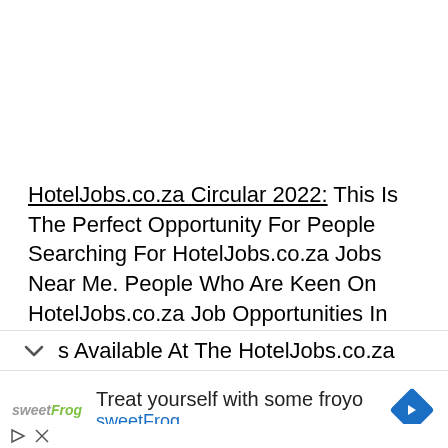HotelJobs.co.za Circular 2022: This Is The Perfect Opportunity For People Searching For HotelJobs.co.za Jobs Near Me. People Who Are Keen On HotelJobs.co.za Job Opportunities In South Africa Could Apply For Current Government Vacancies. This Is One Of The Best s Available At The HotelJobs.co.za
[Figure (screenshot): Advertisement banner for sweetFrog frozen yogurt with logo, text 'Treat yourself with some froyo', 'sweetFrog' in blue, and a blue diamond-shaped navigation arrow icon.]